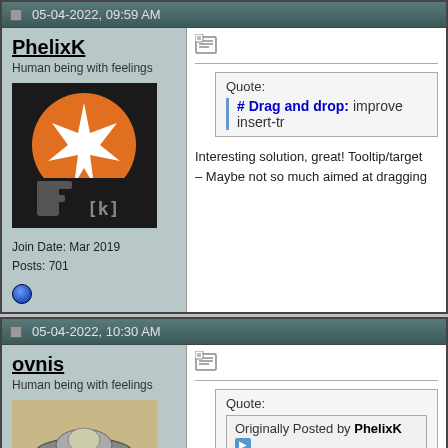05-04-2022, 09:59 AM
PhelixK
Human being with feelings
Join Date: Mar 2019
Posts: 701
Quote:
# Drag and drop: improve insert-tr...

Interesting solution, great! Tooltip/target... – Maybe not so much aimed at dragging...
05-04-2022, 10:30 AM
ovnis
Human being with feelings
Quote:
Originally Posted by PhelixK
Have you tried this ? > Auto-stop pr...

Thx you!

My script: Propagation of active takes c...